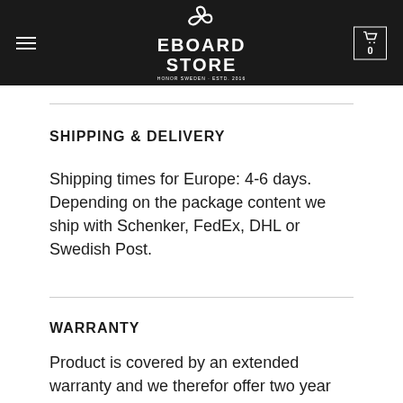[Figure (logo): Eboard Store logo with circular icon and white text on black background, hamburger menu on left, cart button with 0 on right]
SHIPPING & DELIVERY
Shipping times for Europe: 4-6 days. Depending on the package content we ship with Schenker, FedEx, DHL or Swedish Post.
WARRANTY
Product is covered by an extended warranty and we therefor offer two year warrany.
Read more about our warranties here